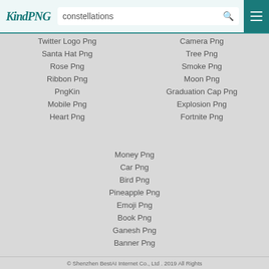KindPNG — constellations search
Twitter Logo Png
Camera Png
Santa Hat Png
Tree Png
Rose Png
Smoke Png
Ribbon Png
Moon Png
PngKin
Graduation Cap Png
Mobile Png
Explosion Png
Heart Png
Fortnite Png
Money Png
Car Png
Bird Png
Pineapple Png
Emoji Png
Book Png
Ganesh Png
Banner Png
© Shenzhen BestAI Internet Co., Ltd . 2019 All Rights